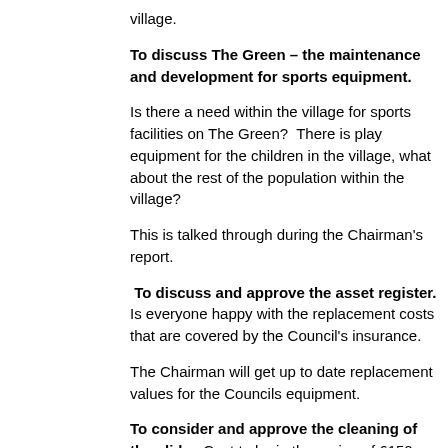village.
To discuss The Green – the maintenance and development for sports equipment.
Is there a need within the village for sports facilities on The Green?  There is play equipment for the children in the village, what about the rest of the population within the village?
This is talked through during the Chairman's report.
To discuss and approve the asset register. Is everyone happy with the replacement costs that are covered by the Council's insurance.
The Chairman will get up to date replacement values for the Councils equipment.
To consider and approve the cleaning of the slide.  Cost to be in the region of £150.
The quote has been lowered to £80 as it's been established